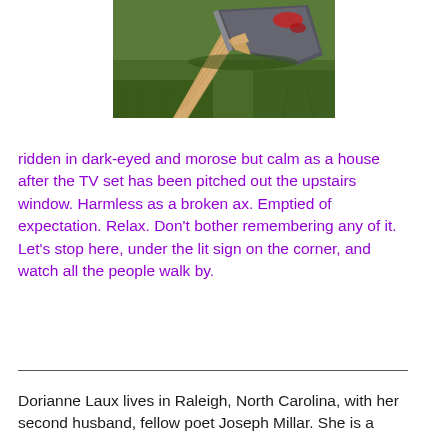[Figure (photo): Close-up photograph of a broken axe head on grass, with wood splinters visible]
ridden in dark-eyed and morose but calm as a house after the TV set has been pitched out the upstairs window. Harmless as a broken ax. Emptied of expectation. Relax. Don't bother remembering any of it. Let's stop here, under the lit sign on the corner, and watch all the people walk by.
Dorianne Laux lives in Raleigh, North Carolina, with her second husband, fellow poet Joseph Millar. She is a